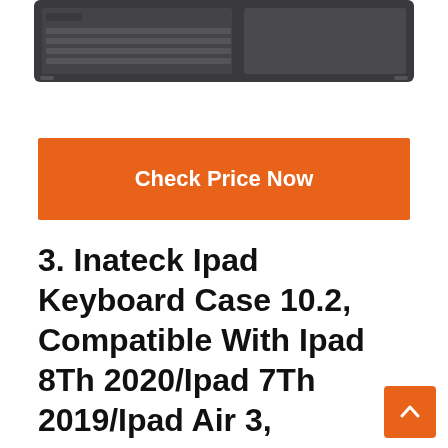[Figure (photo): Top-down view of a dark gray Inateck keyboard case for iPad, showing keyboard and trackpad surface]
Check Price Now
3. Inateck Ipad Keyboard Case 10.2, Compatible With Ipad 8Th 2020/Ipad 7Th 2019/Ipad Air 3, Bluetooth Detachable Keyboard, KB02012